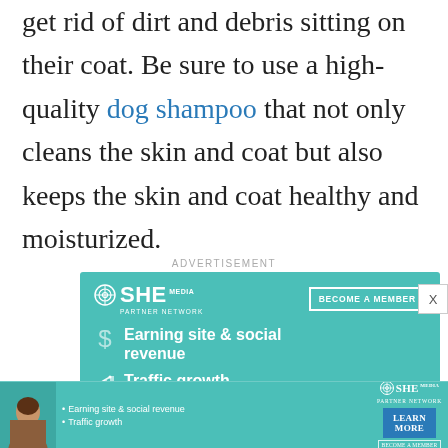get rid of dirt and debris sitting on their coat. Be sure to use a high-quality dog shampoo that not only cleans the skin and coat but also keeps the skin and coat healthy and moisturized.
ADVERTISEMENT
[Figure (screenshot): SHE Media Partner Network advertisement banner in teal color. Shows SHE Media logo with 'BECOME A MEMBER' button, dollar sign icon with 'Earning site & social revenue' text, and chart icon with 'Traffic growth' text.]
[Figure (screenshot): Bottom sticky advertisement bar for SHE Media Partner Network showing a woman's photo, bullet points 'Earning site & social revenue' and 'Traffic growth', SHE Media logo, and 'LEARN MORE' / 'BECOME A MEMBER' buttons.]